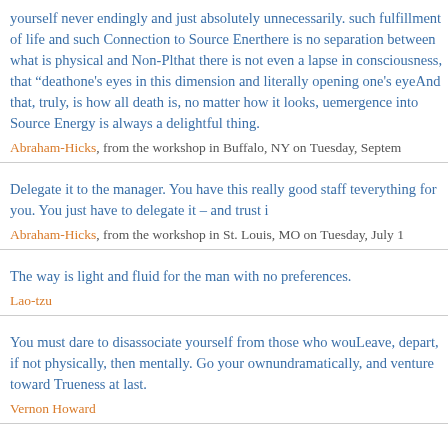yourself never endingly and just absolutely unnecessarily. such fulfillment of life and such Connection to Source Ener there is no separation between what is physical and Non-Pl that there is not even a lapse in consciousness, that "death one's eyes in this dimension and literally opening one's eye And that, truly, is how all death is, no matter how it looks, u emergence into Source Energy is always a delightful thing.
Abraham-Hicks, from the workshop in Buffalo, NY on Tuesday, Septem
Delegate it to the manager. You have this really good staff t everything for you. You just have to delegate it – and trust i
Abraham-Hicks, from the workshop in St. Louis, MO on Tuesday, July 1
The way is light and fluid for the man with no preferences.
Lao-tzu
You must dare to disassociate yourself from those who wou Leave, depart, if not physically, then mentally. Go your own undramatically, and venture toward Trueness at last.
Vernon Howard